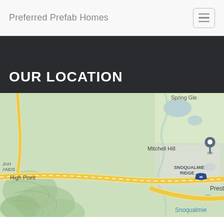Preferred Prefab Homes
OUR LOCATION
[Figure (map): Google Maps view showing Mitchell Hill area with a location pin, near High Point, Preston, Snoqualmie Ridge, Spring Glen, and Snoqualmie. Interstate 90 visible running east-west. Map has green terrain coloring.]